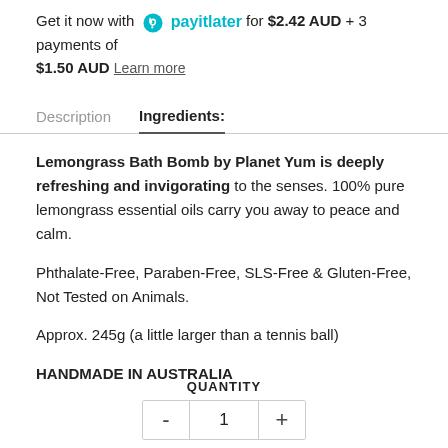Get it now with payitlater for $2.42 AUD + 3 payments of $1.50 AUD Learn more
Description   Ingredients:
Lemongrass Bath Bomb by Planet Yum is deeply refreshing and invigorating to the senses. 100% pure lemongrass essential oils carry you away to peace and calm.

Phthalate-Free, Paraben-Free, SLS-Free & Gluten-Free, Not Tested on Animals.

Approx. 245g (a little larger than a tennis ball)

HANDMADE IN AUSTRALIA
QUANTITY
- 1 +